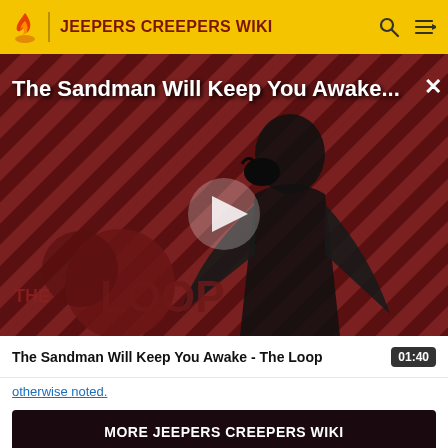JEEPERS CREEPERS WIKI
[Figure (screenshot): Video thumbnail for 'The Sandman Will Keep You Awake - The Loop' showing a dark figure in black cape against diagonal striped red/dark background with 'THE LOOP' logo and a play button overlay]
The Sandman Will Keep You Awake - The Loop  01:40
otherwise noted.
MORE JEEPERS CREEPERS WIKI